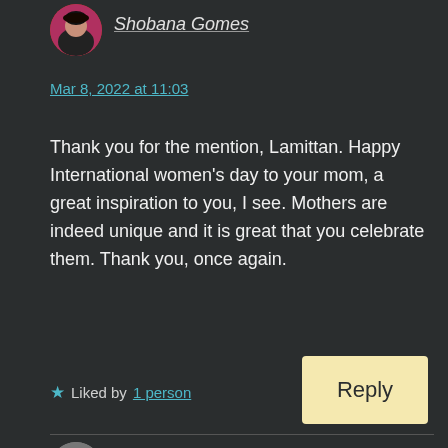[Figure (photo): Small circular avatar photo of Shobana Gomes, a woman with dark hair, wearing pink top]
Shobana Gomes
Mar 8, 2022 at 11:03
Thank you for the mention, Lamittan. Happy International women's day to your mom, a great inspiration to you, I see. Mothers are indeed unique and it is great that you celebrate them. Thank you, once again.
★ Liked by 1 person
Reply